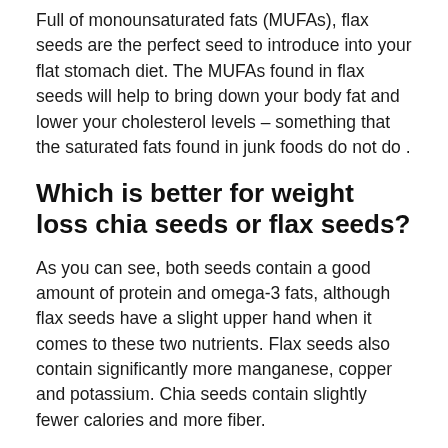Full of monounsaturated fats (MUFAs), flax seeds are the perfect seed to introduce into your flat stomach diet. The MUFAs found in flax seeds will help to bring down your body fat and lower your cholesterol levels – something that the saturated fats found in junk foods do not do .
Which is better for weight loss chia seeds or flax seeds?
As you can see, both seeds contain a good amount of protein and omega-3 fats, although flax seeds have a slight upper hand when it comes to these two nutrients. Flax seeds also contain significantly more manganese, copper and potassium. Chia seeds contain slightly fewer calories and more fiber.